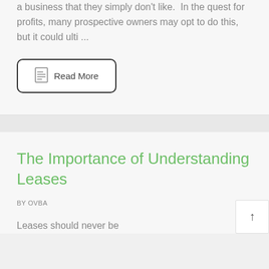a business that they simply don't like.  In the quest for profits, many prospective owners may opt to do this, but it could ulti ...
Read More
The Importance of Understanding Leases
BY OVBA
Leases should never be